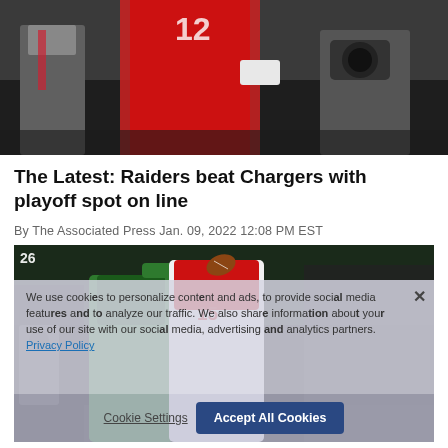[Figure (photo): Sports photo showing football players on field including player wearing number 15 in red/Tampa Bay Buccaneers uniform]
The Latest: Raiders beat Chargers with playoff spot on line
By The Associated Press Jan. 09, 2022 12:08 PM EST
[Figure (photo): Football action photo showing player in green jersey (number 26 visible top left) and player wearing number 15 in white/Buccaneers uniform catching or contesting a ball, with cookie consent overlay banner]
We use cookies to personalize content and ads, to provide social media features and to analyze our traffic. We also share information about your use of our site with our social media, advertising and analytics partners. Privacy Policy
Cookie Settings   Accept All Cookies